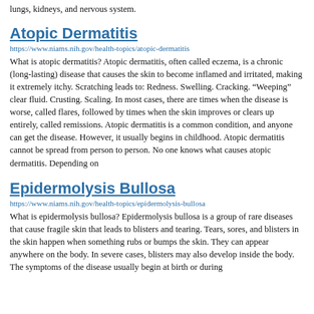lungs, kidneys, and nervous system.
Atopic Dermatitis
https://www.niams.nih.gov/health-topics/atopic-dermatitis
What is atopic dermatitis? Atopic dermatitis, often called eczema, is a chronic (long-lasting) disease that causes the skin to become inflamed and irritated, making it extremely itchy. Scratching leads to: Redness. Swelling. Cracking. “Weeping” clear fluid. Crusting. Scaling. In most cases, there are times when the disease is worse, called flares, followed by times when the skin improves or clears up entirely, called remissions. Atopic dermatitis is a common condition, and anyone can get the disease. However, it usually begins in childhood. Atopic dermatitis cannot be spread from person to person. No one knows what causes atopic dermatitis. Depending on
Epidermolysis Bullosa
https://www.niams.nih.gov/health-topics/epidermolysis-bullosa
What is epidermolysis bullosa? Epidermolysis bullosa is a group of rare diseases that cause fragile skin that leads to blisters and tearing. Tears, sores, and blisters in the skin happen when something rubs or bumps the skin. They can appear anywhere on the body. In severe cases, blisters may also develop inside the body. The symptoms of the disease usually begin at birth or during